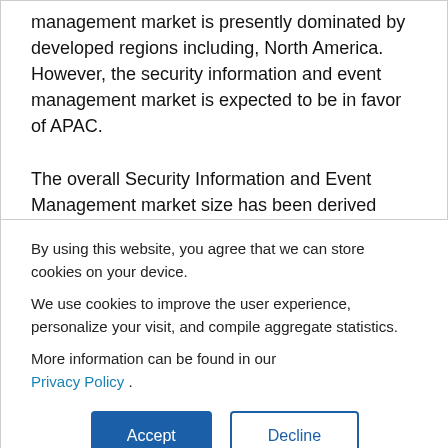management market is presently dominated by developed regions including, North America. However, the security information and event management market is expected to be in favor of APAC.
The overall Security Information and Event Management market size has been derived using
By using this website, you agree that we can store cookies on your device.
We use cookies to improve the user experience, personalize your visit, and compile aggregate statistics.
More information can be found in our Privacy Policy .
Accept   Decline